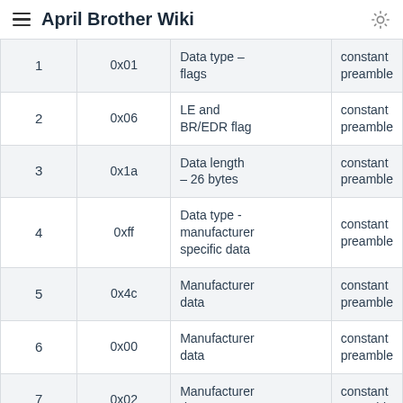April Brother Wiki
|  |  |  |  |
| --- | --- | --- | --- |
| 1 | 0x01 | Data type – flags | constant preamble |
| 2 | 0x06 | LE and BR/EDR flag | constant preamble |
| 3 | 0x1a | Data length – 26 bytes | constant preamble |
| 4 | 0xff | Data type - manufacturer specific data | constant preamble |
| 5 | 0x4c | Manufacturer data | constant preamble |
| 6 | 0x00 | Manufacturer data | constant preamble |
| 7 | 0x02 | Manufacturer data | constant preamble |